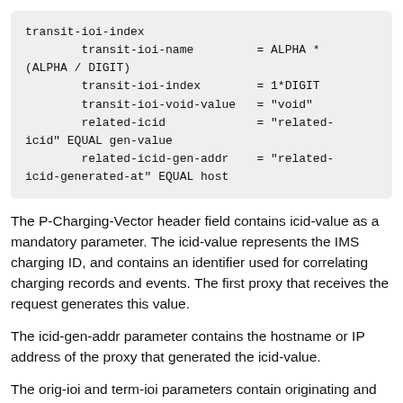transit-ioi-index
        transit-ioi-name         = ALPHA *
(ALPHA / DIGIT)
        transit-ioi-index        = 1*DIGIT
        transit-ioi-void-value   = "void"
        related-icid             = "related-
icid" EQUAL gen-value
        related-icid-gen-addr    = "related-
icid-generated-at" EQUAL host
The P-Charging-Vector header field contains icid-value as a mandatory parameter. The icid-value represents the IMS charging ID, and contains an identifier used for correlating charging records and events. The first proxy that receives the request generates this value.
The icid-gen-addr parameter contains the hostname or IP address of the proxy that generated the icid-value.
The orig-ioi and term-ioi parameters contain originating and terminating interoperator identifiers. They are used to